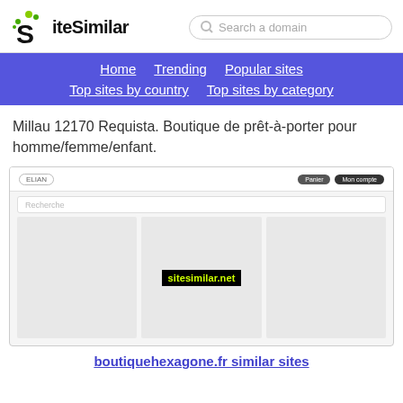SiteSimilar | Search a domain
Home  Trending  Popular sites  Top sites by country  Top sites by category
Millau 12170 Requista. Boutique de prêt-à-porter pour homme/femme/enfant.
[Figure (screenshot): Screenshot of boutiquehexagone.fr website showing a search bar, navigation elements with 'Panier' and 'Mon compte' buttons, a 'Recherche' search field, and a three-column product grid layout with a 'sitesimilar.net' watermark.]
boutiquehexagone.fr similar sites